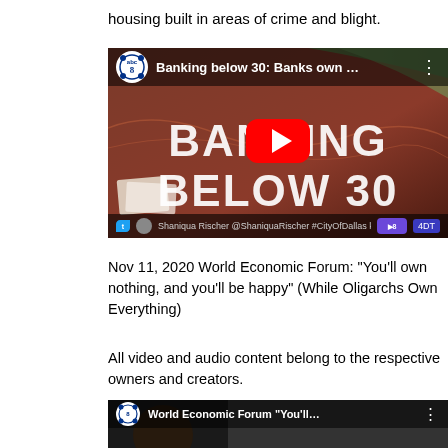housing built in areas of crime and blight.
[Figure (screenshot): YouTube video thumbnail showing 'Banking below 30: Banks own ...' with a large YouTube play button in the center. The thumbnail shows the text 'BANKING BELOW 30' in large white letters on a reddish-brown background. The video is from an ABC8 news channel. At the bottom it shows a tweet from Shaniqua Rischer asking '#CityOfDallas keep approving the permits?']
Nov 11, 2020 World Economic Forum: “You’ll own nothing, and you’ll be happy” (While Oligarchs Own Everything)
All video and audio content belong to the respective owners and creators.
[Figure (screenshot): YouTube video thumbnail showing World Economic Forum 'You'll...' video, partially visible at the bottom of the page.]